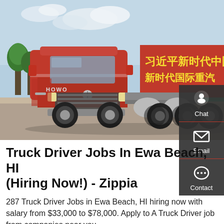[Figure (photo): A large red semi truck (heavy-duty tractor unit) parked in a lot with trees and a red banner with Chinese text in the background.]
Truck Driver Jobs In Ewa Beach, HI (Hiring Now!) - Zippia
287 Truck Driver Jobs in Ewa Beach, HI hiring now with salary from $33,000 to $78,000. Apply to A Truck Driver job from companies near you.
GET A QUOTE